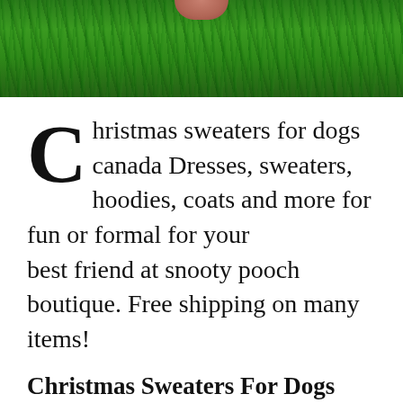[Figure (photo): Close-up photo of green tinsel/garland with a finger visible at the top, bright metallic green pine-needle Christmas decoration]
Christmas sweaters for dogs canada Dresses, sweaters, hoodies, coats and more for fun or formal for your best friend at snooty pooch boutique. Free shipping on many items!
Christmas Sweaters For Dogs Canada, If you're attending an ugly chrsitmas sweater party this year, this list of diy ugly christmas sweaters has your back! Best